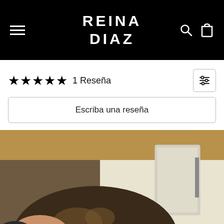REINA DIAZ
★★★★★ 1 Reseña
Escriba una reseña
[Figure (photo): Close-up photo of a person with dark brown hair, partially visible face, taken in a room with warm wood-toned ceiling and cream/white walls with a mirror visible in background.]